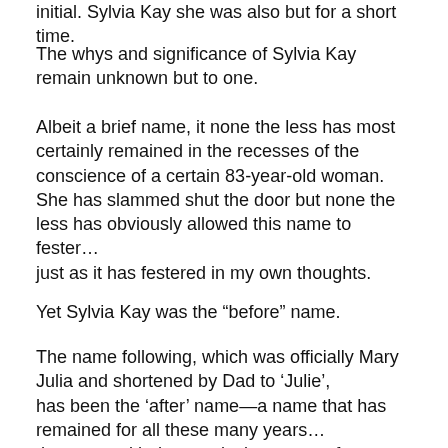initial. Sylvia Kay she was also but for a short time.
The whys and significance of Sylvia Kay remain unknown but to one.
Albeit a brief name, it none the less has most certainly remained in the recesses of the conscience of a certain 83-year-old woman. She has slammed shut the door but none the less has obviously allowed this name to fester… just as it has festered in my own thoughts.
Yet Sylvia Kay was the “before” name.
The name following, which was officially Mary Julia and shortened by Dad to ‘Julie’, has been the ‘after’ name—a name that has remained for all these many years… the name with the conclusive sense of identity…